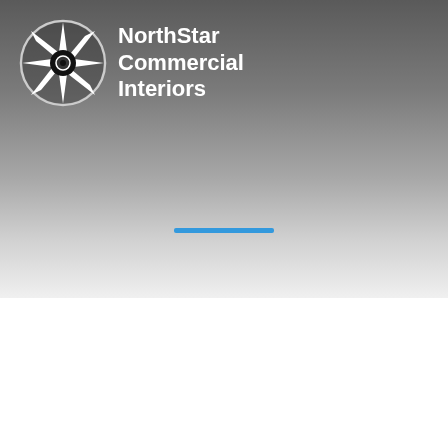[Figure (logo): NorthStar Commercial Interiors logo with compass rose icon and white bold text on gradient gray background]
[Figure (other): Blue horizontal line/bar in center of gradient area]